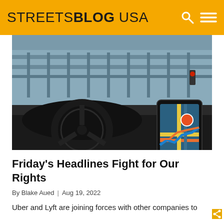STREETSBLOG USA
[Figure (photo): Interior view of a car dashboard with a steering wheel in the foreground. A smartphone showing a navigation map (Waze-like) is mounted on the right side of the dashboard. Through the windshield, a bridge or overpass is visible in the background with a red traffic light. The scene is captured in a moody, cold-toned urban environment.]
Friday's Headlines Fight for Our Rights
By Blake Aued | Aug 19, 2022
Uber and Lyft are joining forces with other companies to